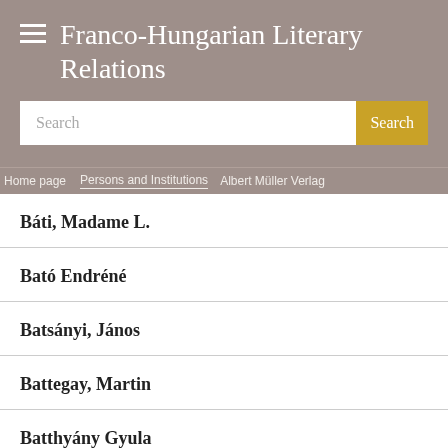Franco-Hungarian Literary Relations
Search
Home page | Persons and Institutions | Albert Müller Verlag
Báti, Madame L.
Bató Endréné
Batsányi, János
Battegay, Martin
Batthyány Gyula